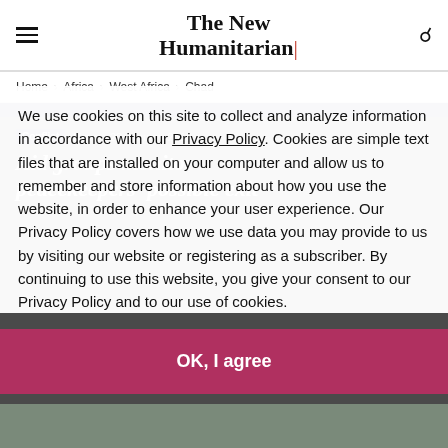The New Humanitarian
Home > Africa > West Africa > Chad
[Figure (screenshot): Dark blue banner strip dividing nav from article content]
Conflict  News  20 January 2010
Aid groups monitor peacekeepers' possible exit
We use cookies on this site to collect and analyze information in accordance with our Privacy Policy. Cookies are simple text files that are installed on your computer and allow us to remember and store information about how you use the website, in order to enhance your user experience. Our Privacy Policy covers how we use data you may provide to us by visiting our website or registering as a subscriber. By continuing to use this website, you give your consent to our Privacy Policy and to our use of cookies.
OK, I agree
[Figure (photo): Partial photo of people visible at bottom of page]